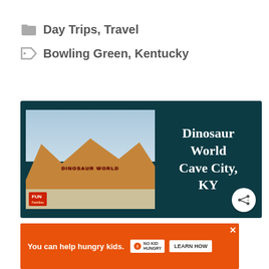Day Trips, Travel
Bowling Green, Kentucky
[Figure (screenshot): Thumbnail image for Dinosaur World Cave City KY video/article, showing a dark teal background with a photo of the Dinosaur World park entrance on the left, and white serif text reading 'Dinosaur World Cave City, KY' on the right. A share button appears in the bottom-right corner.]
[Figure (other): Advertisement banner: orange background with white text 'You can help hungry kids.' and No Kid Hungry logo, plus a 'LEARN HOW' button. Close X button in corner.]